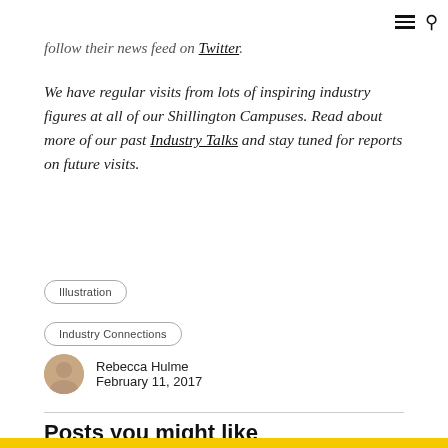≡ 🔍
follow their news feed on Twitter.
We have regular visits from lots of inspiring industry figures at all of our Shillington Campuses. Read about more of our past Industry Talks and stay tuned for reports on future visits.
Illustration
Industry Connections
Rebecca Hulme
February 11, 2017
Posts you might like